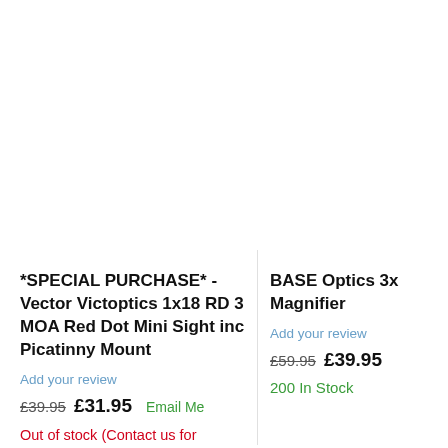*SPECIAL PURCHASE* - Vector Victoptics 1x18 RD 3 MOA Red Dot Mini Sight inc Picatinny Mount
Add your review
£39.95  £31.95  Email Me
Out of stock (Contact us for availability.)
BASE Optics 3x Magnifier
Add your review
£59.95  £39.95
200 In Stock